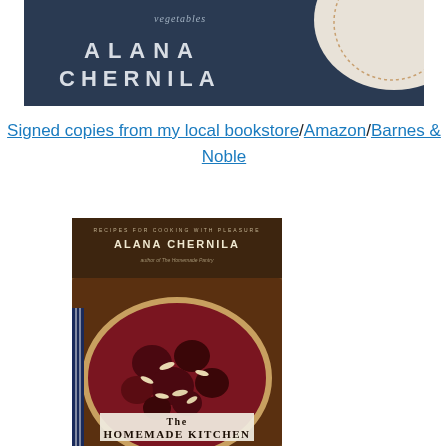[Figure (photo): Top portion of a book cover showing dark navy/blue background with text 'vegetables', 'ALANA CHERNILA' in large spaced lettering, and a partial plate/dish visible in the upper right corner]
Signed copies from my local bookstore/Amazon/Barnes & Noble
[Figure (photo): Book cover for 'The Homemade Kitchen' by Alana Chernila, author of The Homemade Pantry, with subtitle 'Recipes for Cooking with Pleasure'. Shows a dark berry/plum tart with sliced almonds on a rustic background.]